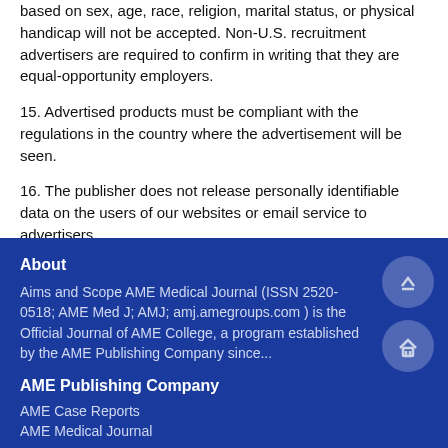based on sex, age, race, religion, marital status, or physical handicap will not be accepted. Non-U.S. recruitment advertisers are required to confirm in writing that they are equal-opportunity employers.
15. Advertised products must be compliant with the regulations in the country where the advertisement will be seen.
16. The publisher does not release personally identifiable data on the users of our websites or email service to advertisers.
Updated on April 25, 2022
About
Aims and Scope AME Medical Journal (ISSN 2520-0518; AME Med J; AMJ; amj.amegroups.com ) is the Official Journal of AME College, a program established by the AME Publishing Company since...
AME Publishing Company
AME Case Reports
AME Medical Journal